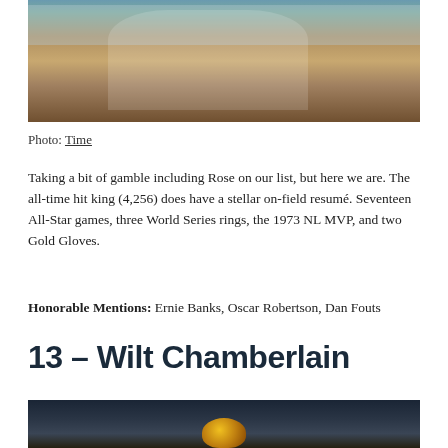[Figure (photo): Baseball action photo showing a batter running and a catcher crouching at home plate]
Photo: Time
Taking a bit of gamble including Rose on our list, but here we are. The all-time hit king (4,256) does have a stellar on-field resumé. Seventeen All-Star games, three World Series rings, the 1973 NL MVP, and two Gold Gloves.
Honorable Mentions: Ernie Banks, Oscar Robertson, Dan Fouts
13 – Wilt Chamberlain
[Figure (photo): Dark photo showing Wilt Chamberlain, with a yellow/gold object visible at the bottom]